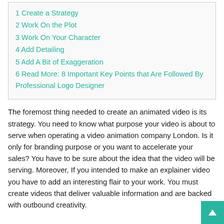1 Create a Strategy
2 Work On the Plot
3 Work On Your Character
4 Add Detailing
5 Add A Bit of Exaggeration
6 Read More: 8 Important Key Points that Are Followed By Professional Logo Designer
The foremost thing needed to create an animated video is its strategy. You need to know what purpose your video is about to serve when operating a video animation company London. Is it only for branding purpose or you want to accelerate your sales? You have to be sure about the idea that the video will be serving. Moreover, If you intended to make an explainer video you have to add an interesting flair to your work. You must create videos that deliver valuable information and are backed with outbound creativity.